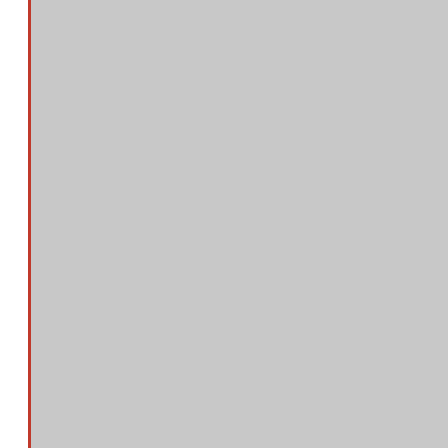Search By Category (29 Based On 30 Spline)
[Figure (engineering-diagram): Cross-section engineering diagram of a U-joint yoke/flange component showing dimensions E (overall length/height) and D (spline bore diameter) with dashed centerlines and dimension arrows]
U-Joint Series
Spline Major Diameter
Spline Count
Spline Type
Universal Joint Retainer Width
Universal Joint Bearing Diameter
Centerline of Joint to End of Spline